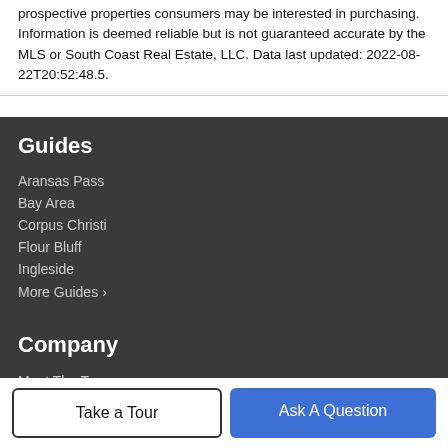prospective properties consumers may be interested in purchasing. Information is deemed reliable but is not guaranteed accurate by the MLS or South Coast Real Estate, LLC. Data last updated: 2022-08-22T20:52:48.5.
Guides
Aransas Pass
Bay Area
Corpus Christi
Flour Bluff
Ingleside
More Guides >
Company
Meet The Team
Take a Tour
Ask A Question